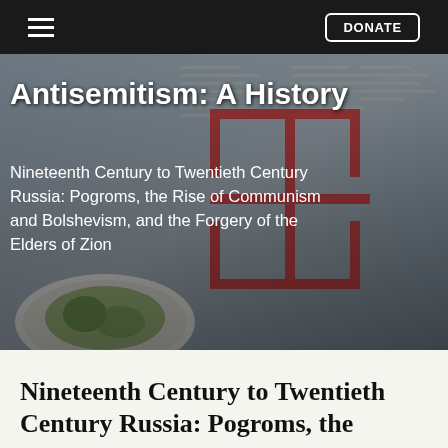≡  DONATE
[Figure (photo): Background photo of a wall or document with a red swastika graffiti symbol and Hebrew text, partly overlaid by a decorative plate with greenery. Overlaid text reads 'Antisemitism: A History' and subtitle 'Nineteenth Century to Twentieth Century Russia: Pogroms, the Rise of Communism and Bolshevism, and the Forgery of the Elders of Zion']
Antisemitism: A History
Nineteenth Century to Twentieth Century Russia: Pogroms, the Rise of Communism and Bolshevism, and the Forgery of the Elders of Zion
Nineteenth Century to Twentieth Century Russia: Pogroms, the